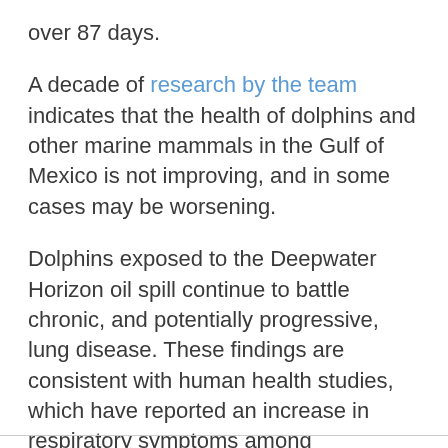over 87 days.
A decade of research by the team indicates that the health of dolphins and other marine mammals in the Gulf of Mexico is not improving, and in some cases may be worsening.
Dolphins exposed to the Deepwater Horizon oil spill continue to battle chronic, and potentially progressive, lung disease. These findings are consistent with human health studies, which have reported an increase in respiratory symptoms among individuals who responded to the oil spill, with some symptoms getting worse over time.